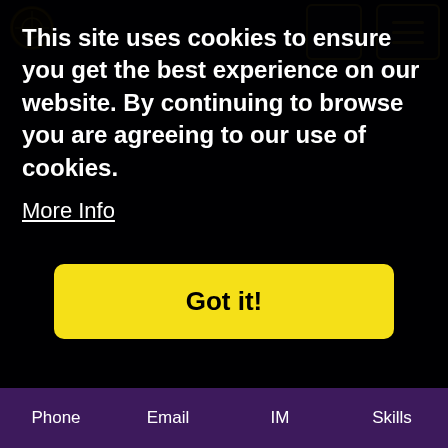This site uses cookies to ensure you get the best experience on our website. By continuing to browse you are agreeing to our use of cookies.
More Info
Got it!
TAROT READING?
A Tarot Reading is like a snapshot of your current life and past events that have impacted your present situation. The reader and the cards tune into your energy and will provide an image of unseen or unrecognised behaviour patterns, obstacles and strengths. People who have influenced your life in some way, for bad or good, will often be represented by a card depicting their character.
A reading can help you take an honest look at your situation
Phone   Email   IM   Skills